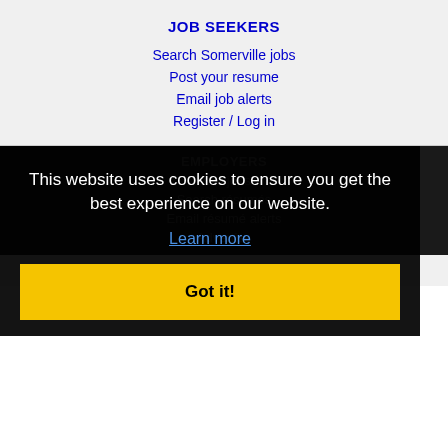JOB SEEKERS
Search Somerville jobs
Post your resume
Email job alerts
Register / Log in
EMPLOYERS
Post jobs
Search résumés
Email résumé alerts
Advertise
This website uses cookies to ensure you get the best experience on our website.
Learn more
Got it!
IMMIGRATION SPECIALISTS